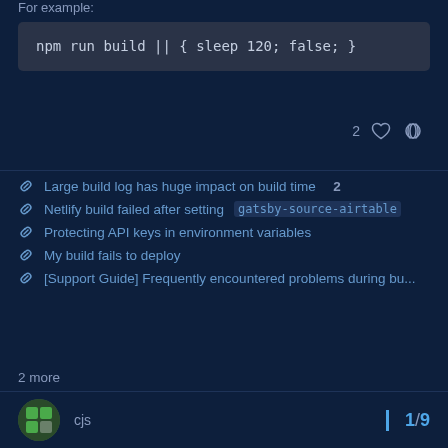For example:
npm run build || { sleep 120; false; }
Large build log has huge impact on build time  2
Netlify build failed after setting `gatsby-source-airtable`
Protecting API keys in environment variables
My build fails to deploy
[Support Guide] Frequently encountered problems during bu...
2 more
created  May '19   last reply  Jun 26   8 replies
cjs   1/9